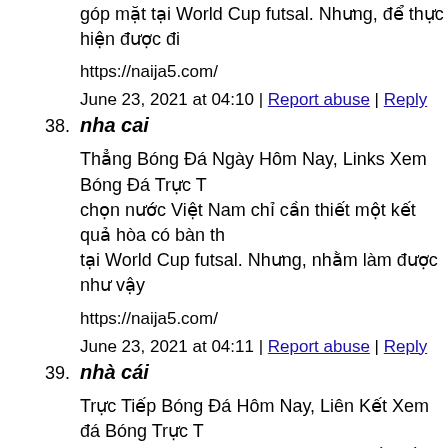góp mặt tại World Cup futsal. Nhưng, để thực hiện được đi
https://naija5.com/
June 23, 2021 at 04:10 | Report abuse | Reply
38. nha cai
Thẳng Bóng Đá Ngày Hôm Nay, Links Xem Bóng Đá Trực T chọn nước Việt Nam chỉ cần thiết một kết quả hòa có bàn th tại World Cup futsal. Nhưng, nhằm làm được như vậy
https://naija5.com/
June 23, 2021 at 04:11 | Report abuse | Reply
39. nhà cái
Trực Tiếp Bóng Đá Hôm Nay, Liên Kết Xem đá Bóng Trực T futsal nước ta đã có được một trận đấu đồng ý được trước đ Lebanon. Kết trái Bà Rịa-Vũng Tàu vs Bình Phước thời điểm Hạng nhất nước Việt Nam.
https://naija5.com/
June 23, 2021 at 04:13 | Report abuse | Reply
40. cá mặt hẩm mặt